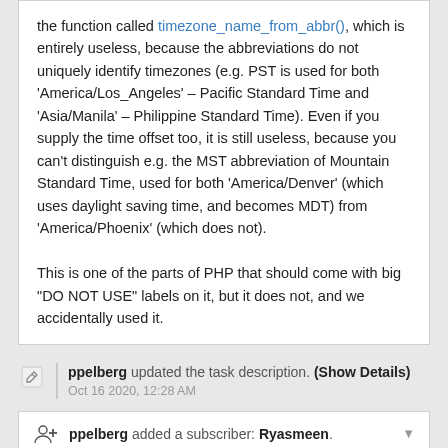the function called timezone_name_from_abbr(), which is entirely useless, because the abbreviations do not uniquely identify timezones (e.g. PST is used for both 'America/Los_Angeles' – Pacific Standard Time and 'Asia/Manila' – Philippine Standard Time). Even if you supply the time offset too, it is still useless, because you can't distinguish e.g. the MST abbreviation of Mountain Standard Time, used for both 'America/Denver' (which uses daylight saving time, and becomes MDT) from 'America/Phoenix' (which does not).

This is one of the parts of PHP that should come with big "DO NOT USE" labels on it, but it does not, and we accidentally used it.
ppelberg updated the task description. (Show Details)
Oct 16 2020, 12:28 AM
ppelberg added a subscriber: Ryasmeen.
Oct 16 2020, 12:31 AM
In T265500#6548090, @matmarex wrote:
Seems to work now on thwiki and newiki at a glance. I couldn't easily find a suitable discussion page to test on the others – it